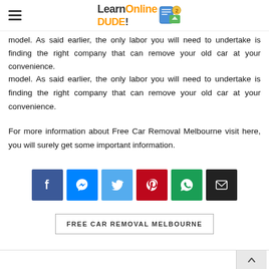LearnOnlineDude! [logo with hamburger menu]
model. As said earlier, the only labor you will need to undertake is finding the right company that can remove your old car at your convenience.
For more information about Free Car Removal Melbourne visit here, you will surely get some important information.
[Figure (infographic): Social sharing buttons row: Facebook (blue), Messenger (light blue), Twitter (sky blue), Pinterest (red), WhatsApp (green), Email (dark/black)]
FREE CAR REMOVAL MELBOURNE
Back to top arrow button